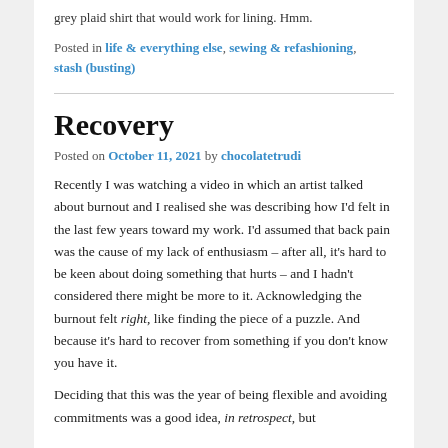grey plaid shirt that would work for lining. Hmm.
Posted in life & everything else, sewing & refashioning, stash (busting)
Recovery
Posted on October 11, 2021 by chocolatetrudi
Recently I was watching a video in which an artist talked about burnout and I realised she was describing how I'd felt in the last few years toward my work. I'd assumed that back pain was the cause of my lack of enthusiasm – after all, it's hard to be keen about doing something that hurts – and I hadn't considered there might be more to it. Acknowledging the burnout felt right, like finding the piece of a puzzle. And because it's hard to recover from something if you don't know you have it.
Deciding that this was the year of being flexible and avoiding commitments was a good idea, in retrospect, but